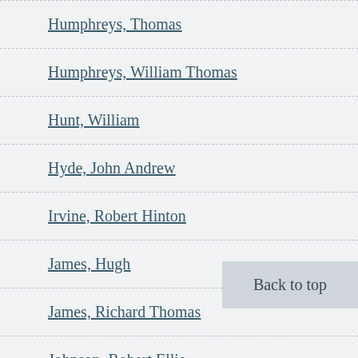Humphreys, Thomas
Humphreys, William Thomas
Hunt, William
Hyde, John Andrew
Irvine, Robert Hinton
James, Hugh
James, Richard Thomas
Johnson, Robert Ellis
Johnson, William Henry
Jones, David